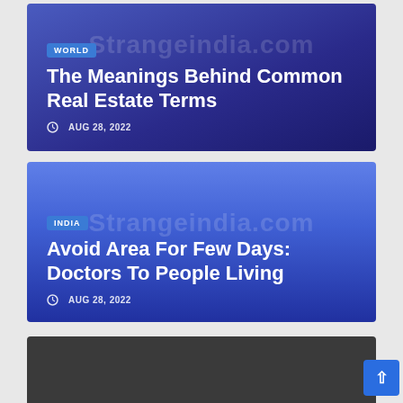[Figure (screenshot): News article card with blue gradient background, WORLD badge, title 'The Meanings Behind Common Real Estate Terms', date AUG 28 2022, watermark 'Strangeindia.com']
The Meanings Behind Common Real Estate Terms
AUG 28, 2022
[Figure (screenshot): News article card with blue gradient background, INDIA badge, title 'Avoid Area For Few Days: Doctors To People Living', date AUG 28 2022, watermark 'Strangeindia.com']
Avoid Area For Few Days: Doctors To People Living
AUG 28, 2022
[Figure (screenshot): Partial dark gray news article card at bottom of page]
Scroll to top button